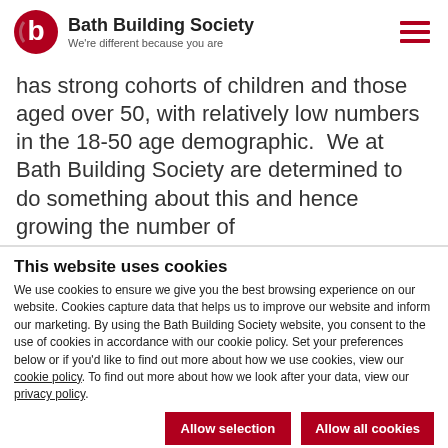Bath Building Society — We're different because you are
has strong cohorts of children and those aged over 50, with relatively low numbers in the 18-50 age demographic.  We at Bath Building Society are determined to do something about this and hence growing the number of
This website uses cookies
We use cookies to ensure we give you the best browsing experience on our website. Cookies capture data that helps us to improve our website and inform our marketing. By using the Bath Building Society website, you consent to the use of cookies in accordance with our cookie policy. Set your preferences below or if you'd like to find out more about how we use cookies, view our cookie policy. To find out more about how we look after your data, view our privacy policy.